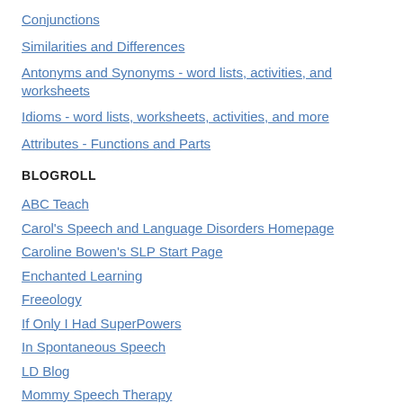Conjunctions
Similarities and Differences
Antonyms and Synonyms - word lists, activities, and worksheets
Idioms - word lists, worksheets, activities, and more
Attributes - Functions and Parts
BLOGROLL
ABC Teach
Carol's Speech and Language Disorders Homepage
Caroline Bowen's SLP Start Page
Enchanted Learning
Freeology
If Only I Had SuperPowers
In Spontaneous Speech
LD Blog
Mommy Speech Therapy
Net Connections for Communication Disorders and Sciences